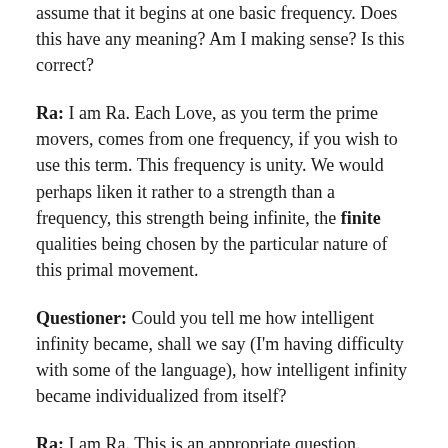assume that it begins at one basic frequency. Does this have any meaning? Am I making sense? Is this correct?
Ra: I am Ra. Each Love, as you term the prime movers, comes from one frequency, if you wish to use this term. This frequency is unity. We would perhaps liken it rather to a strength than a frequency, this strength being infinite, the finite qualities being chosen by the particular nature of this primal movement.
Questioner: Could you tell me how intelligent infinity became, shall we say (I'm having difficulty with some of the language), how intelligent infinity became individualized from itself?
Ra: I am Ra. This is an appropriate question.
The intelligent infinity discerned a concept. This